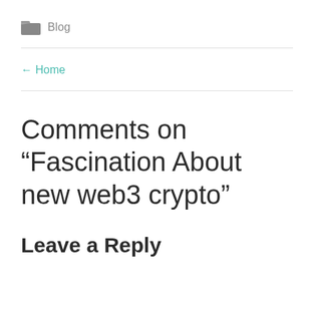Blog
← Home
Comments on “Fascination About new web3 crypto”
Leave a Reply